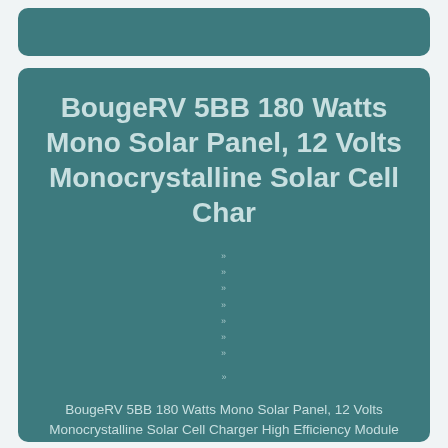BougeRV 5BB 180 Watts Mono Solar Panel, 12 Volts Monocrystalline Solar Cell Char
BougeRV 5BB 180 Watts Mono Solar Panel, 12 Volts Monocrystalline Solar Cell Charger High Efficiency Module for RV Marine Boat Off Grid. [5BB 180 Watts Solar Panel] With high conversion efficiency modules, 180 watts monocrystalline solar panel can charge 12V